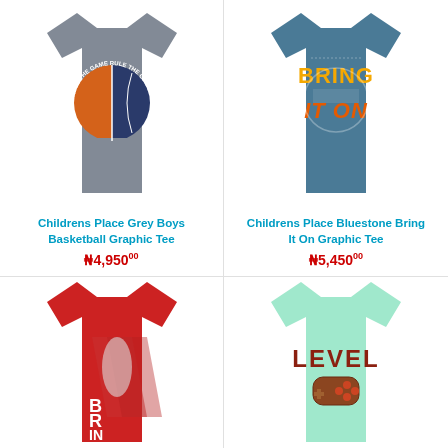[Figure (photo): Grey boys basketball graphic tee with orange and blue basketball split design and 'Rule The Game' text]
Childrens Place Grey Boys Basketball Graphic Tee
₦4,950.00
[Figure (photo): Bluestone bring it on graphic tee with 'BRING IT ON' text in orange and yellow on teal/blue shirt]
Childrens Place Bluestone Bring It On Graphic Tee
₦5,450.00
[Figure (photo): Red boys graphic tee with baseball player illustration and 'BRIN' text visible]
[Figure (photo): Mint/light green boys graphic tee with 'LEVEL' text and game controller graphic]